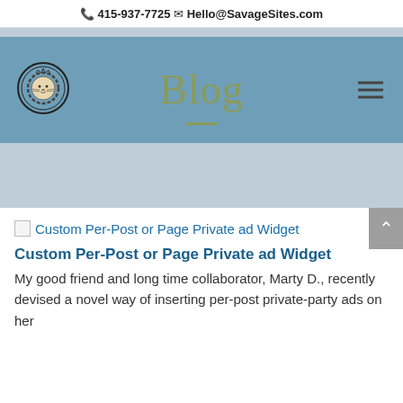📞 415-937-7725   ✉ Hello@SavageSites.com
Blog
[Figure (screenshot): Broken image placeholder with alt text: Custom Per-Post or Page Private ad Widget]
Custom Per-Post or Page Private ad Widget
My good friend and long time collaborator, Marty D., recently devised a novel way of inserting per-post private-party ads on her